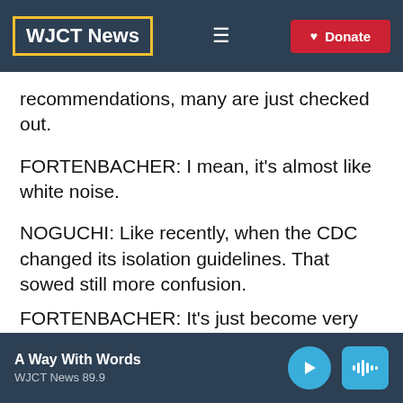WJCT News
recommendations, many are just checked out.
FORTENBACHER: I mean, it's almost like white noise.
NOGUCHI: Like recently, when the CDC changed its isolation guidelines. That sowed still more confusion.
FORTENBACHER: It's just become very
A Way With Words
WJCT News 89.9